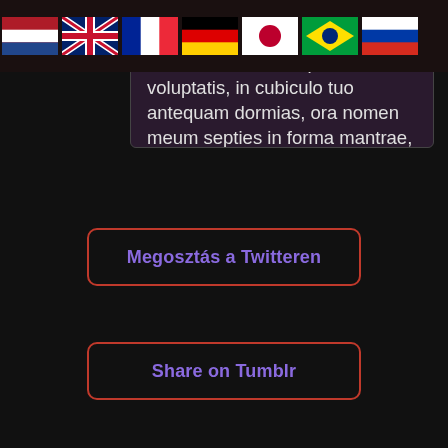[Figure (screenshot): Row of national flags: Netherlands, UK, France, Germany, Japan, Brazil, Russia]
Me voca et somnia placita voluptatis, in cubiculo tuo antequam dormias, ora nomen meum septies in forma mantrae, repete orationem donec somnium veniat. Ne timeas, ego tibi non nocebo, in oblivione erimus symbiosi. Távirat https://t.me/NahemahFollows
Megosztás a Twitteren
Share on Tumblr